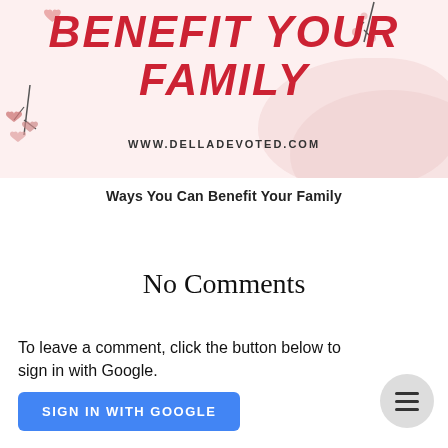[Figure (illustration): Blog post header banner with pink background, decorative hearts and branches, bold red italic text reading 'BENEFIT YOUR FAMILY' and URL 'WWW.DELLADEVOTED.COM']
Ways You Can Benefit Your Family
No Comments
To leave a comment, click the button below to sign in with Google.
SIGN IN WITH GOOGLE